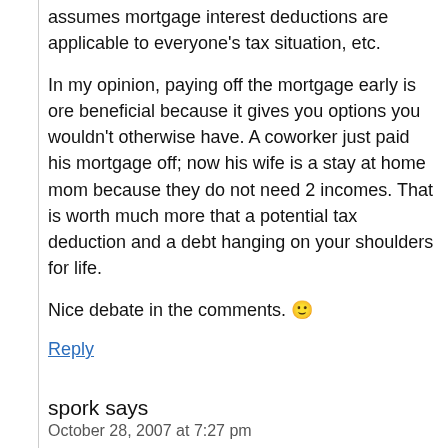assumes mortgage interest deductions are applicable to everyone’s tax situation, etc.
In my opinion, paying off the mortgage early is ore beneficial because it gives you options you wouldn’t otherwise have. A coworker just paid his mortgage off; now his wife is a stay at home mom because they do not need 2 incomes. That is worth much more that a potential tax deduction and a debt hanging on your shoulders for life.
Nice debate in the comments. 🙂
Reply
spork says
October 28, 2007 at 7:27 pm
Imagine my surprise upon seeing the headline